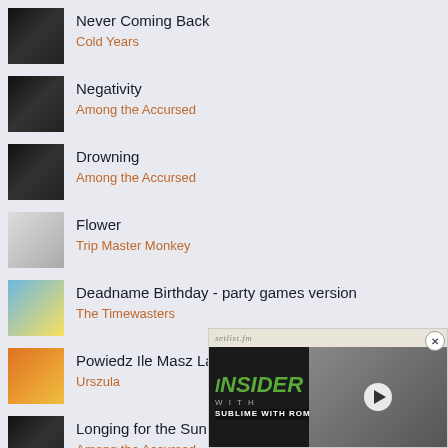Never Coming Back — Cold Years
Negativity — Among the Accursed
Drowning — Among the Accursed
Flower — Trip Master Monkey
Deadname Birthday - party games version — The Timewasters
Powiedz Ile Masz Lat — Urszula
Longing for the Sun — Among the Accursed
Energy — Bugzy Malone, MIST
[Figure (screenshot): Setlist.fm Insider video ad overlay featuring 'INSIDER WITH SUBLIME WITH ROME' with play button and three people photo]